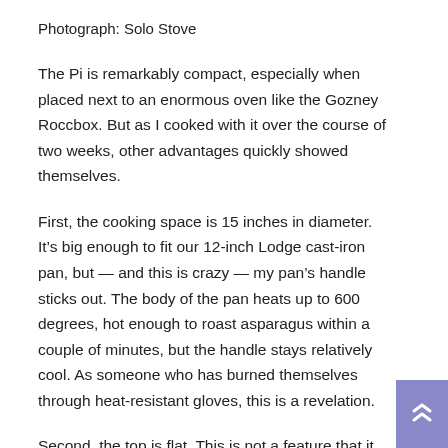Photograph: Solo Stove
The Pi is remarkably compact, especially when placed next to an enormous oven like the Gozney Roccbox. But as I cooked with it over the course of two weeks, other advantages quickly showed themselves.
First, the cooking space is 15 inches in diameter. It’s big enough to fit our 12-inch Lodge cast-iron pan, but — and this is crazy — my pan’s handle sticks out. The body of the pan heats up to 600 degrees, hot enough to roast asparagus within a couple of minutes, but the handle stays relatively cool. As someone who has burned themselves through heat-resistant gloves, this is a revelation.
Second, the top is flat. This is not a feature that it would have occurred to me to request in a pizza oven, but it is a